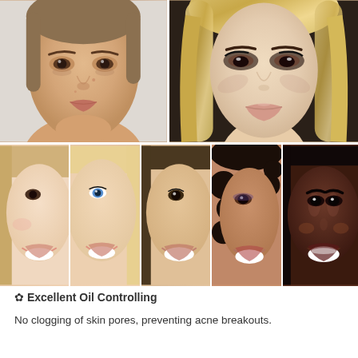[Figure (photo): Collage of beauty/makeup photos. Top row: left photo shows a young woman with light-medium skin tone without makeup (natural look, slight acne marks); right photo shows a young woman with light skin and blonde hair wearing full glamour makeup with smoky eyes. Bottom row: five cropped facial photos of women with different skin tones all smiling and wearing makeup, ranging from fair to very dark skin tones.]
✿ Excellent Oil Controlling
No clogging of skin pores, preventing acne breakouts.